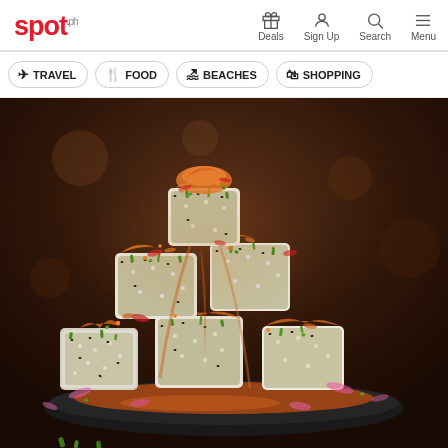spot.ph — Deals | Sign Up | Search | Menu
TRAVEL
FOOD
BEACHES
SHOPPING
[Figure (photo): Tall stack of sushi rolls topped with spicy orange sauce, red and pink powder, green onion bits, served on a dark slate plate with bokeh restaurant background.]